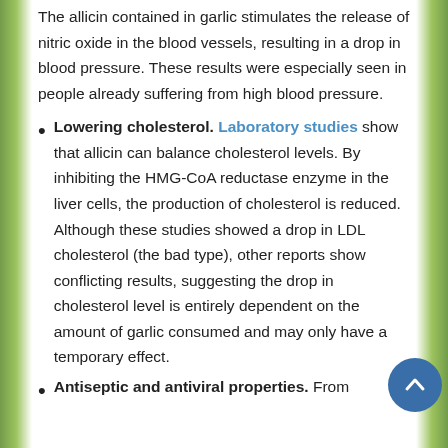The allicin contained in garlic stimulates the release of nitric oxide in the blood vessels, resulting in a drop in blood pressure. These results were especially seen in people already suffering from high blood pressure.
Lowering cholesterol. Laboratory studies show that allicin can balance cholesterol levels. By inhibiting the HMG-CoA reductase enzyme in the liver cells, the production of cholesterol is reduced. Although these studies showed a drop in LDL cholesterol (the bad type), other reports show conflicting results, suggesting the drop in cholesterol level is entirely dependent on the amount of garlic consumed and may only have a temporary effect.
Antiseptic and antiviral properties. From